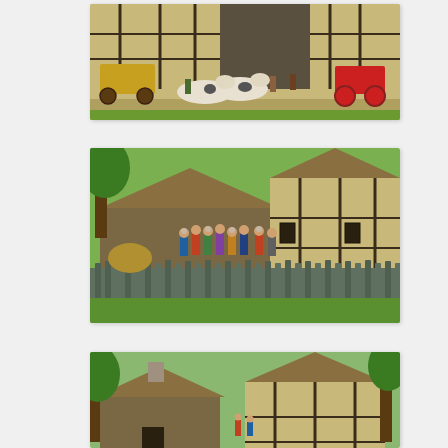[Figure (photo): Miniature diorama of a medieval village scene with half-timbered buildings, ox-drawn wagons and carts on a dirt road, with painted figurines.]
[Figure (photo): Miniature diorama of medieval figures (peasants or soldiers) in a village setting with thatched-roof buildings, a wooden fence, trees and haystacks.]
[Figure (photo): Miniature diorama of thatched-roof and half-timbered medieval buildings with green trees, partially cropped at the bottom of the page.]